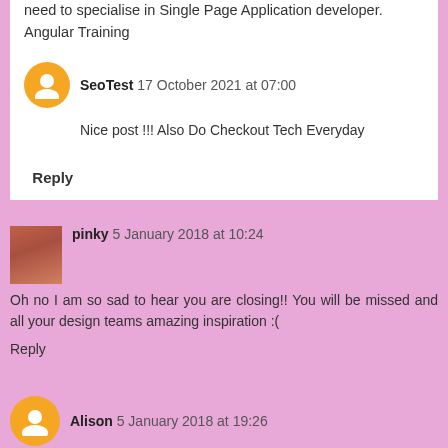need to specialise in Single Page Application developer. Angular Training
SeoTest 17 October 2021 at 07:00
Nice post !!! Also Do Checkout Tech Everyday
Reply
pinky 5 January 2018 at 10:24
Oh no I am so sad to hear you are closing!! You will be missed and all your design teams amazing inspiration :(
Reply
Alison 5 January 2018 at 19:26
Thank you for choosing my card as a Perfect Pinkie in your last challenge. I love pink and I'm so sad to see this challenge is finishing. Maybe one day you will think about starting it up again. Happy New Year to you all